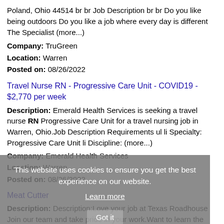Poland, Ohio 44514 br br Job Description br br Do you like being outdoors Do you like a job where every day is different The Specialist (more...)
Company: TruGreen
Location: Warren
Posted on: 08/26/2022
Travel Nurse RN - Progressive Care Unit - COVID19 - $2,770 per week
Description: Emerald Health Services is seeking a travel nurse RN Progressive Care Unit for a travel nursing job in Warren, Ohio.Job Description Requirements ul li Specialty: Progressive Care Unit li Discipline: (more...)
Company: Emerald Health Services
Location: Warren
Posted on: 08/26/2022
Meat Cutter
Description: Description:Love your job at Texas Roadhouse Join our team and take pride in your work.Want to learn the lost art of meat cutting If you like precision, you are detail-oriented, and you don t mind frigid (more...)
Company: Texas Roadhouse
Location: Warren
This website uses cookies to ensure you get the best experience on our website. Learn more Got it